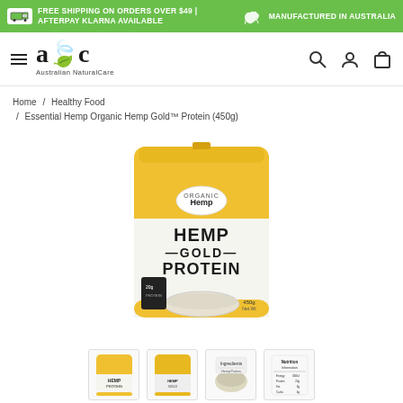FREE SHIPPING ON ORDERS OVER $49 | AFTERPAY KLARNA AVAILABLE | MANUFACTURED IN AUSTRALIA
[Figure (logo): Australian NaturalCare (ANC) logo with green leaf]
Home / Healthy Food / Essential Hemp Organic Hemp Gold™ Protein (450g)
[Figure (photo): Essential Hemp Organic Hemp Gold Protein 450g yellow and white product bag with hemp protein powder in bowl]
[Figure (photo): Four product thumbnail images showing front, side, ingredients, and nutrition panel of the hemp protein product]